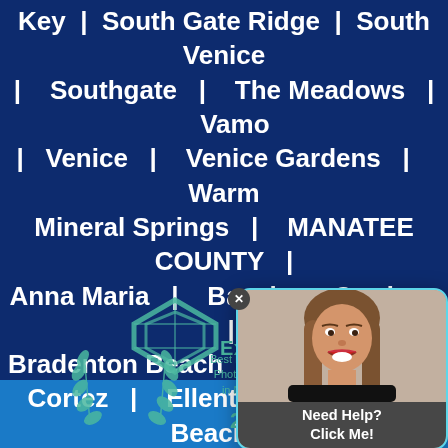Key | South Gate Ridge | South Venice | Southgate | The Meadows | Vamo | Venice | Venice Gardens | Warm Mineral Springs | MANATEE COUNTY | Anna Maria | Bayshore Gardens | Bradenton Beach | Bradenton | Cortez | Ellenton | Holmes Beach | Longboat Key | Memphis | Palmetto | Samoset | South B... | Bradento...
[Figure (logo): Expertise.com badge with teal diamond logo, laurel wreath, text 'Best Real Estate Photography in Napl...' and year 2022]
[Figure (photo): Popup card showing a woman with brown hair smiling, wearing a black top, with a 'Need Help? Click Me!' CTA overlay at the bottom, framed with teal border and X close button]